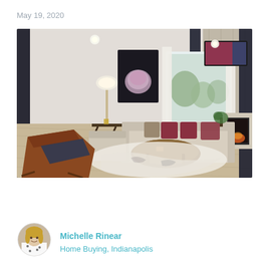May 19, 2020
[Figure (photo): Interior photo of a modern living room with light wood floors, a beige sectional sofa with burgundy and patterned throw pillows, a brown leather lounge chair with navy cushion in foreground, a wooden coffee table on a cowhide rug, a dark floral wall art piece, a floor lamp, large windows letting in natural light, a wall-mounted TV on a wood-paneled accent wall, and a fireplace on the right side.]
[Figure (photo): Circular avatar photo of Michelle Rinear, a woman with blonde hair wearing a black and white polka dot top.]
Michelle Rinear
Home Buying, Indianapolis